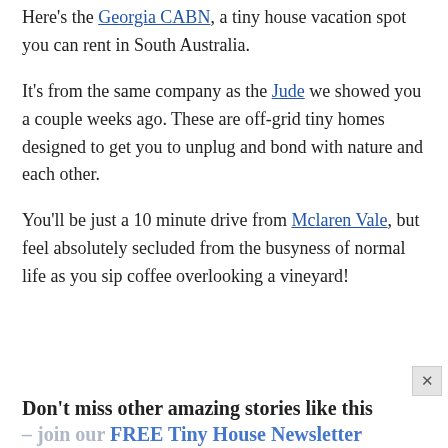Here's the Georgia CABN, a tiny house vacation spot you can rent in South Australia.
It's from the same company as the Jude we showed you a couple weeks ago. These are off-grid tiny homes designed to get you to unplug and bond with nature and each other.
You'll be just a 10 minute drive from Mclaren Vale, but feel absolutely secluded from the busyness of normal life as you sip coffee overlooking a vineyard!
Don't miss other amazing stories like this – join our FREE Tiny House Newsletter